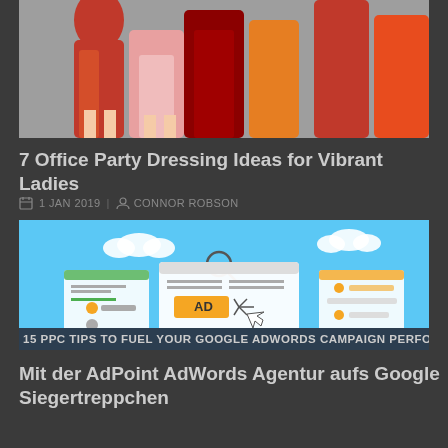[Figure (photo): Fashion photo showing women in orange, pink, and red dresses from waist down, standing against a grey wall]
7 Office Party Dressing Ideas for Vibrant Ladies
1 JAN 2019 | CONNOR ROBSON
[Figure (infographic): Infographic illustration showing browser windows with AD label and cursor click animation on blue background, with text '15 PPC TIPS TO FUEL YOUR GOOGLE ADWORDS CAMPAIGN PERFORMANCE' at the bottom]
Mit der AdPoint AdWords Agentur aufs Google Siegertreppchen